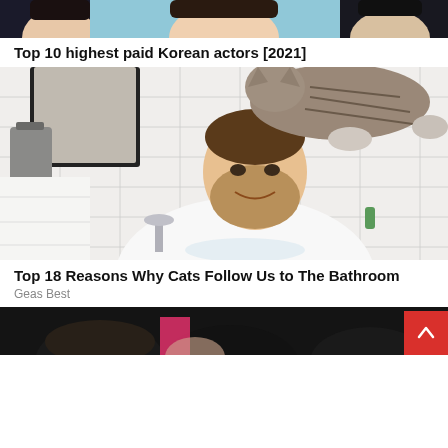[Figure (photo): Partial view of Korean actors — top portion of their faces, cropped at top of page]
Top 10 highest paid Korean actors [2021]
[Figure (photo): Man washing hands at bathroom sink while a cat sits on his head/shoulders, looking amused]
Top 18 Reasons Why Cats Follow Us to The Bathroom
Geas Best
[Figure (photo): Partial bottom view of dark-haired people, bottom of page, with a red scroll-to-top button overlay]